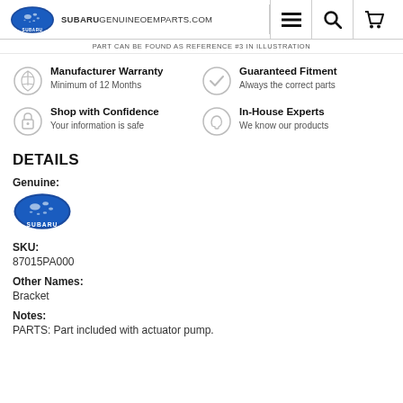SUBARUGENUINEOEMPARTS.COM
PART CAN BE FOUND AS REFERENCE #3 IN ILLUSTRATION
Manufacturer Warranty
Minimum of 12 Months
Guaranteed Fitment
Always the correct parts
Shop with Confidence
Your information is safe
In-House Experts
We know our products
DETAILS
Genuine:
[Figure (logo): Subaru logo with oval star emblem and SUBARU text]
SKU:
87015PA000
Other Names:
Bracket
Notes:
PARTS: Part included with actuator pump.